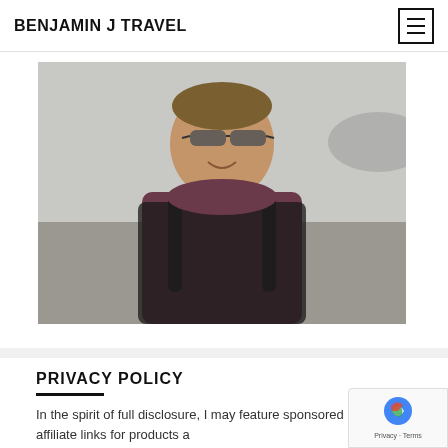BENJAMIN J TRAVEL
[Figure (photo): Young man wearing sunglasses and a maroon t-shirt with a black backpack, standing outdoors near an aircraft or vehicle, smiling at the camera.]
PRIVACY POLICY
In the spirit of full disclosure, I may feature sponsored content or affiliate links for products a